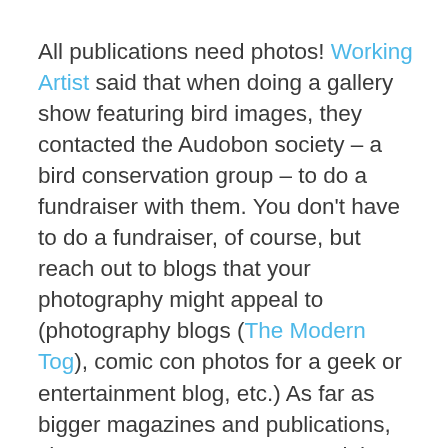All publications need photos! Working Artist said that when doing a gallery show featuring bird images, they contacted the Audobon society – a bird conservation group – to do a fundraiser with them. You don't have to do a fundraiser, of course, but reach out to blogs that your photography might appeal to (photography blogs (The Modern Tog), comic con photos for a geek or entertainment blog, etc.) As far as bigger magazines and publications, chances are you won't get straight through to the head honcho. Try working up the ladder by contacting the editorial assistant or features editor. They're more likely to see your stuff and get back to you! (Female Creatives Association)